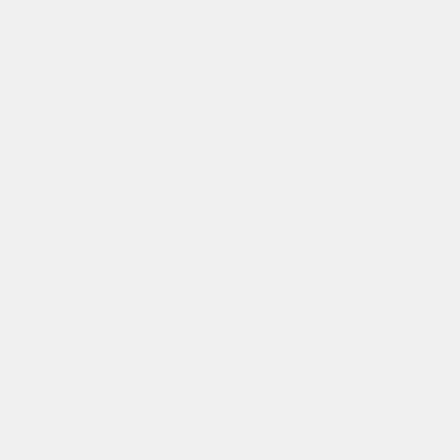an pe rig to su Bu his co iss are "re ed to wh it wa an cre the